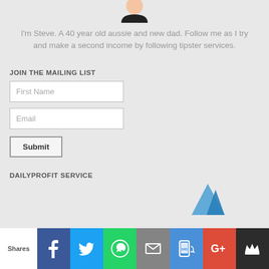[Figure (illustration): Cartoon avatar figure, head and shoulders visible at top of page]
I'm Steve. A 40 year old aussie and new dad. Follow me as I try and make a second income by following tipster services.
JOIN THE MAILING LIST
[Figure (screenshot): Web form with First Name input, Email input, and Submit button]
DAILYPROFIT SERVICE
[Figure (illustration): Partial view of DailyProfit service graphic/logo in bottom right]
[Figure (infographic): Social share bar at bottom with Shares label, Facebook, Twitter, WhatsApp, Email, SMS, Google+, and crown icon buttons]